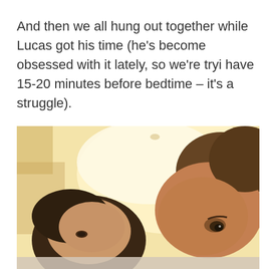And then we all hung out together while Lucas got his time (he's become obsessed with it lately, so we're tryi have 15-20 minutes before bedtime – it's a struggle).
[Figure (photo): A close-up selfie-style photo of two people lying down in a warmly lit room. On the left is a woman with dark hair, and on the right is a man with brown hair. The background shows a bright, warm yellow-lit room with pillows or cushions visible.]